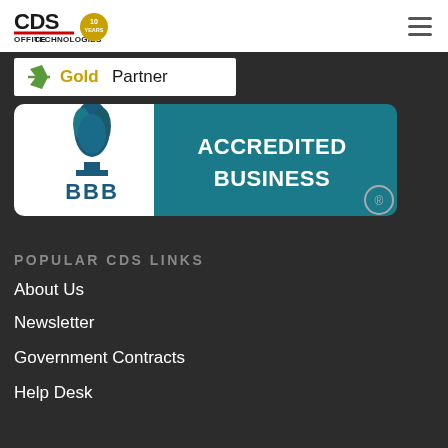[Figure (logo): CDS Office Technologies logo with 10 Years badge in top navigation bar]
[Figure (logo): Kyocera Gold Partner logo badge on white background]
[Figure (logo): BBB Accredited Business badge with torch icon in teal and white]
POPULAR CDS LINKS
About Us
Newsletter
Government Contracts
Help Desk